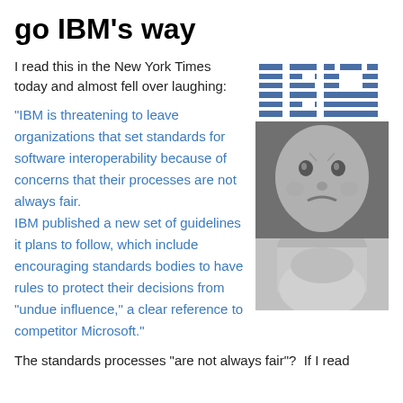go IBM’s way
I read this in the New York Times today and almost fell over laughing:
[Figure (logo): IBM striped blue logo]
[Figure (photo): Black and white close-up photo of a crying baby face]
[Figure (photo): Black and white photo of a baby, lower portion]
"IBM is threatening to leave organizations that set standards for software interoperability because of concerns that their processes are not always fair.
IBM published a new set of guidelines it plans to follow, which include encouraging standards bodies to have rules to protect their decisions from "undue influence," a clear reference to competitor Microsoft."
The standards processes “are not always fair”?  If I read